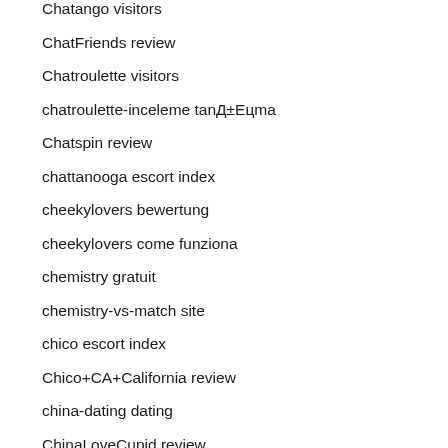Chatango visitors
ChatFriends review
Chatroulette visitors
chatroulette-inceleme tanД±Eцma
Chatspin review
chattanooga escort index
cheekylovers bewertung
cheekylovers come funziona
chemistry gratuit
chemistry-vs-match site
chico escort index
Chico+CA+California review
china-dating dating
ChinaLoveCupid review
chinese dating